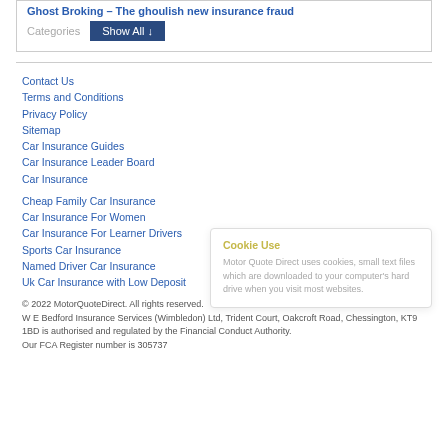Ghost Broking – The ghoulish new insurance fraud
Categories   Show All ↓
Contact Us
Terms and Conditions
Privacy Policy
Sitemap
Car Insurance Guides
Car Insurance Leader Board
Car Insurance
Cheap Family Car Insurance
Car Insurance For Women
Car Insurance For Learner Drivers
Sports Car Insurance
Named Driver Car Insurance
Uk Car Insurance with Low Deposit
Cookie Use
Motor Quote Direct uses cookies, small text files which are downloaded to your computer's hard drive when you visit most websites.
© 2022 MotorQuoteDirect. All rights reserved. W E Bedford Insurance Services (Wimbledon) Ltd, Trident Court, Oakcroft Road, Chessington, KT9 1BD is authorised and regulated by the Financial Conduct Authority. Our FCA Register number is 305737